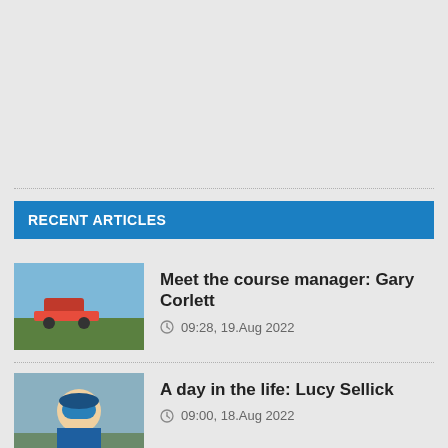RECENT ARTICLES
[Figure (photo): Thumbnail photo of golf course with red tractor/mower on green grass]
Meet the course manager: Gary Corlett
09:28, 19.Aug 2022
[Figure (photo): Thumbnail photo of person wearing blue jacket and hat, smiling outdoors]
A day in the life: Lucy Sellick
09:00, 18.Aug 2022
[Figure (photo): Thumbnail photo of building exterior, Hartpury College]
Hartpury College embraces electric efficiency